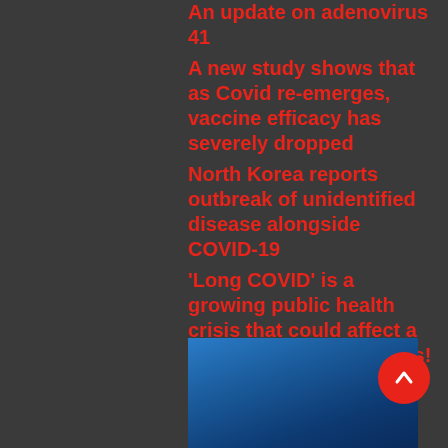An update on adenovirus 41
A new study shows that as Covid re-emerges, vaccine efficacy has severely dropped
North Korea reports outbreak of unidentified disease alongside COVID-19
'Long COVID' is a growing public health crisis that could affect a billion in just a few years!
The re-pandemic
[Figure (photo): Blue gradient background image, dark blue tones]